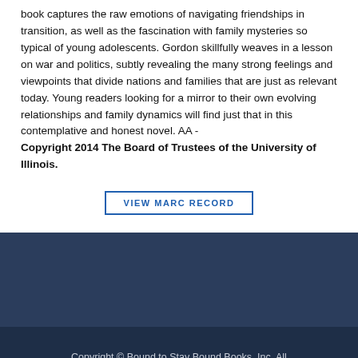book captures the raw emotions of navigating friendships in transition, as well as the fascination with family mysteries so typical of young adolescents. Gordon skillfully weaves in a lesson on war and politics, subtly revealing the many strong feelings and viewpoints that divide nations and families that are just as relevant today. Young readers looking for a mirror to their own evolving relationships and family dynamics will find just that in this contemplative and honest novel. AA - Copyright 2014 The Board of Trustees of the University of Illinois.
VIEW MARC RECORD
Copyright © Bound to Stay Bound Books, Inc. All rights reserved.  |  Privacy Policy